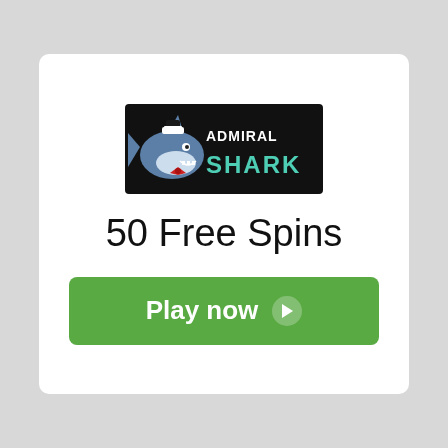[Figure (logo): Admiral Shark casino logo on black background with shark mascot illustration]
50 Free Spins
Play now ▶